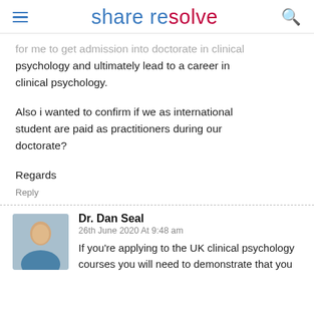share resolve
for me to get admission into doctorate in clinical psychology and ultimately lead to a career in clinical psychology.
Also i wanted to confirm if we as international student are paid as practitioners during our doctorate?
Regards
Reply
Dr. Dan Seal
26th June 2020 At 9:48 am
If you're applying to the UK clinical psychology courses you will need to demonstrate that you